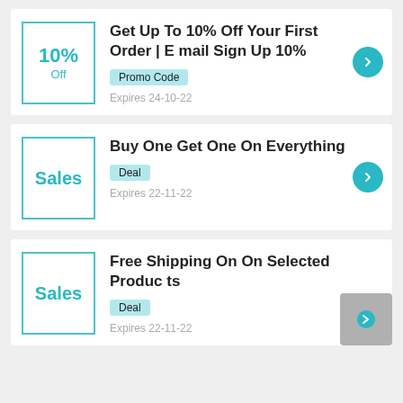Get Up To 10% Off Your First Order | Email Sign Up 10%
Buy One Get One On Everything
Free Shipping On On Selected Products